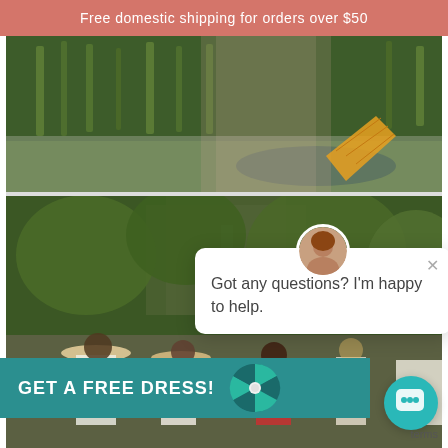Free domestic shipping for orders over $50
[Figure (photo): Woman in floral dress holding a folding fan near a river/wetland area with green reeds]
[Figure (photo): Group of women in white dresses and hats standing in front of lush green cliffs/waterfall scenery]
Got any questions? I'm happy to help.
[Figure (infographic): GET A FREE DRESS! promotional spinning wheel widget with teal background bar]
[Figure (other): Teal chat button (speech bubble icon) in bottom right corner]
terms